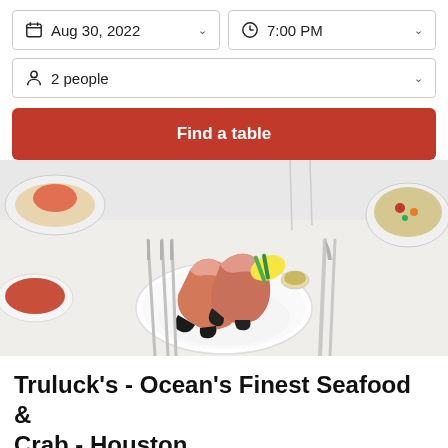Aug 30, 2022
7:00 PM
2 people
Find a table
[Figure (photo): Close-up of stone crab claws on a white plate with a lemon garnish, forks on the left and a knife on the right, other dishes visible in background]
Truluck's - Ocean's Finest Seafood & Crab - Houston